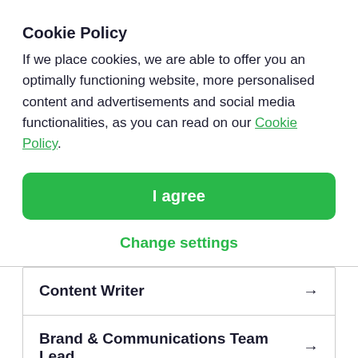Cookie Policy
If we place cookies, we are able to offer you an optimally functioning website, more personalised content and advertisements and social media functionalities, as you can read on our Cookie Policy.
I agree
Change settings
Content Writer →
Brand & Communications Team Lead →